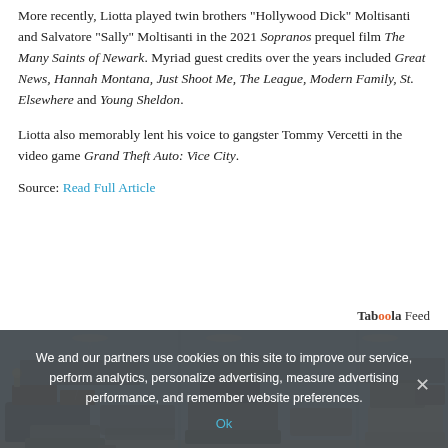More recently, Liotta played twin brothers "Hollywood Dick" Moltisanti and Salvatore "Sally" Moltisanti in the 2021 Sopranos prequel film The Many Saints of Newark. Myriad guest credits over the years included Great News, Hannah Montana, Just Shoot Me, The League, Modern Family, St. Elsewhere and Young Sheldon.
Liotta also memorably lent his voice to gangster Tommy Vercetti in the video game Grand Theft Auto: Vice City.
Source: Read Full Article
[Figure (illustration): Taboola Feed logo with orange double-o letters]
[Figure (photo): Interior of a large furniture showroom with many sofas, couches, and seating arranged in rows]
We and our partners use cookies on this site to improve our service, perform analytics, personalize advertising, measure advertising performance, and remember website preferences.
Ok